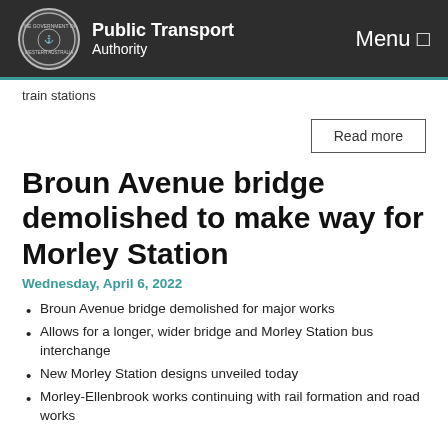Public Transport Authority | Menu
train stations
Read more
Broun Avenue bridge demolished to make way for Morley Station
Wednesday, April 6, 2022
Broun Avenue bridge demolished for major works
Allows for a longer, wider bridge and Morley Station bus interchange
New Morley Station designs unveiled today
Morley-Ellenbrook works continuing with rail formation and road works